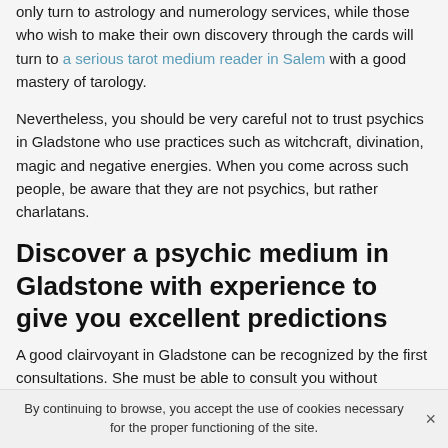only turn to astrology and numerology services, while those who wish to make their own discovery through the cards will turn to a serious tarot medium reader in Salem with a good mastery of tarology.
Nevertheless, you should be very careful not to trust psychics in Gladstone who use practices such as witchcraft, divination, magic and negative energies. When you come across such people, be aware that they are not psychics, but rather charlatans.
Discover a psychic medium in Gladstone with experience to give you excellent predictions
A good clairvoyant in Gladstone can be recognized by the first consultations. She must be able to consult you without
By continuing to browse, you accept the use of cookies necessary for the proper functioning of the site.